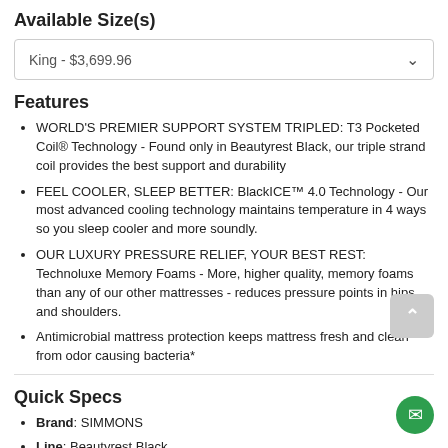Available Size(s)
King  - $3,699.96
Features
WORLD'S PREMIER SUPPORT SYSTEM TRIPLED: T3 Pocketed Coil® Technology - Found only in Beautyrest Black, our triple strand coil provides the best support and durability
FEEL COOLER, SLEEP BETTER: BlackICE™ 4.0 Technology - Our most advanced cooling technology maintains temperature in 4 ways so you sleep cooler and more soundly.
OUR LUXURY PRESSURE RELIEF, YOUR BEST REST: Technoluxe Memory Foams - More, higher quality, memory foams than any of our other mattresses - reduces pressure points in hips and shoulders.
Antimicrobial mattress protection keeps mattress fresh and clean from odor causing bacteria*
Quick Specs
Brand: SIMMONS
Line: Beautyrest Black
Type: Pillow Top